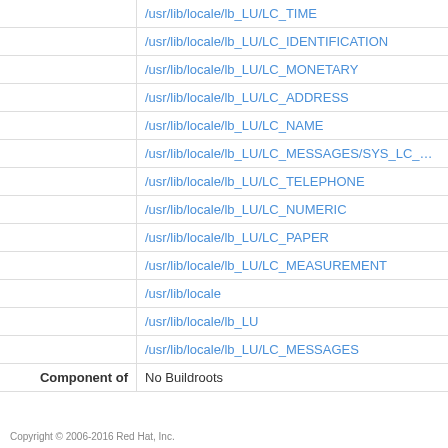|  | Files |
| --- | --- |
|  | /usr/lib/locale/lb_LU/LC_TIME |
|  | /usr/lib/locale/lb_LU/LC_IDENTIFICATION |
|  | /usr/lib/locale/lb_LU/LC_MONETARY |
|  | /usr/lib/locale/lb_LU/LC_ADDRESS |
|  | /usr/lib/locale/lb_LU/LC_NAME |
|  | /usr/lib/locale/lb_LU/LC_MESSAGES/SYS_LC_MESS... |
|  | /usr/lib/locale/lb_LU/LC_TELEPHONE |
|  | /usr/lib/locale/lb_LU/LC_NUMERIC |
|  | /usr/lib/locale/lb_LU/LC_PAPER |
|  | /usr/lib/locale/lb_LU/LC_MEASUREMENT |
|  | /usr/lib/locale |
|  | /usr/lib/locale/lb_LU |
|  | /usr/lib/locale/lb_LU/LC_MESSAGES |
| Component of | No Buildroots |
Copyright © 2006-2016 Red Hat, Inc.